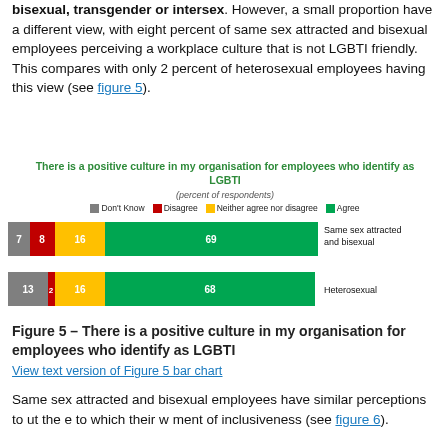bisexual, transgender or intersex. However, a small proportion have a different view, with eight percent of same sex attracted and bisexual employees perceiving a workplace culture that is not LGBTI friendly. This compares with only 2 percent of heterosexual employees having this view (see figure 5).
[Figure (stacked-bar-chart): There is a positive culture in my organisation for employees who identify as LGBTI]
Figure 5 – There is a positive culture in my organisation for employees who identify as LGBTI
View text version of Figure 5 bar chart
Same sex attracted and bisexual employees have similar perceptions to [obscured] about the extent to which their workplace [obscured] environment of inclusiveness (see figure 6).